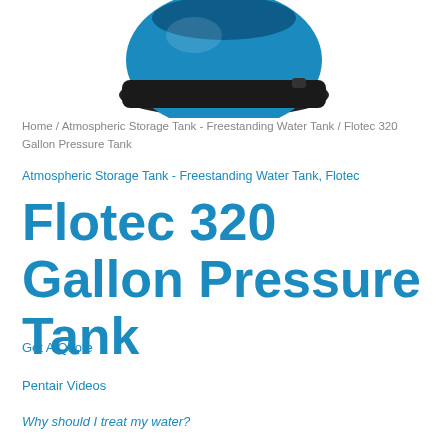[Figure (photo): Top portion of a Flotec 320 Gallon Pressure Tank — a round black and blue tank lid/cap visible against white background]
Home / Atmospheric Storage Tank - Freestanding Water Tank / Flotec 320 Gallon Pressure Tank
Atmospheric Storage Tank - Freestanding Water Tank, Flotec
Flotec 320 Gallon Pressure Tank
Get A Quote
Pentair Videos
Why should I treat my water?